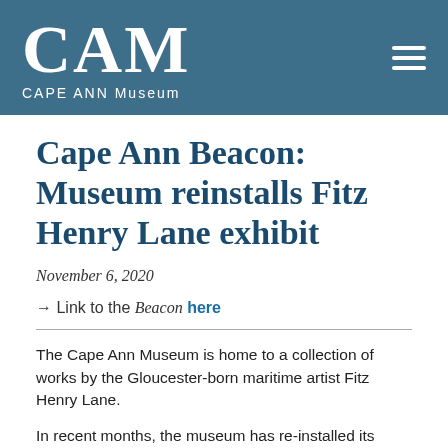CAM CAPE ANN Museum
Cape Ann Beacon: Museum reinstalls Fitz Henry Lane exhibit
November 6, 2020
→ Link to the Beacon here
The Cape Ann Museum is home to a collection of works by the Gloucester-born maritime artist Fitz Henry Lane.
In recent months, the museum has re-installed its Lane Gallery to better showcase new and ongoing scholarship into the artist's work and to create a dedicated space within the large, multi-sectioned gallery for regularly